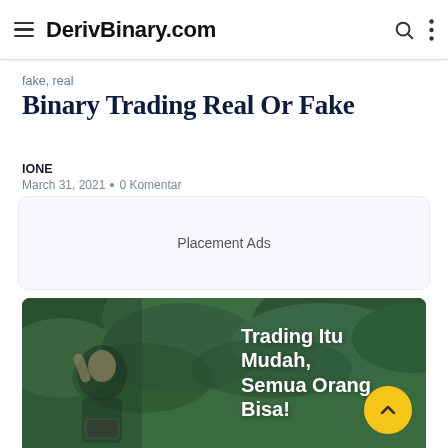DerivBinary.com
fake, real
Binary Trading Real Or Fake
IONE
March 31, 2021 • 0 Komentar
[Figure (other): Placement Ads box — empty advertisement placeholder with light grey background]
[Figure (photo): Promotional banner image showing a woman celebrating with raised fists in front of green foliage, with white text reading 'Trading Itu Mudah, Semua Orang Bisa!' and a yellow back-to-top button in bottom-right corner]